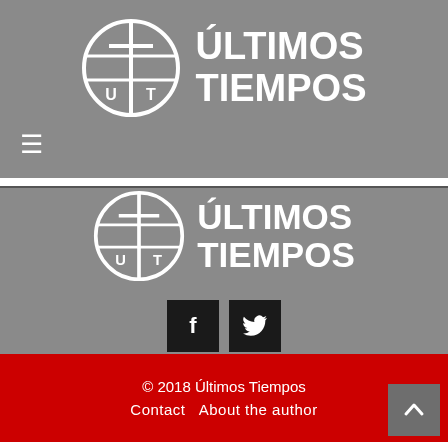[Figure (logo): Últimos Tiempos logo: globe with cross, text ÚLTIMOS TIEMPOS in white on gray background]
[Figure (logo): Hamburger menu icon (three horizontal lines) in white]
[Figure (logo): Últimos Tiempos logo repeated in footer section: globe with cross, text ÚLTIMOS TIEMPOS in white on gray background, with Facebook and Twitter social media buttons]
© 2018 Últimos Tiempos
Contact   About the author